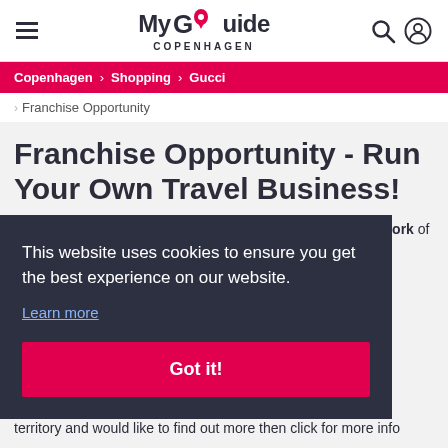My Guide Copenhagen
Copenhagen > Shopping > Gucci
Franchise Opportunity
Franchise Opportunity - Run Your Own Travel Business!
My Guide Copenhagen is part of the global My Guide Network of online and mobile travel guides. Our guides are operated by local experts … build and …
This website uses cookies to ensure you get the best experience on our website. Learn more Got it!
territory and would like to find out more then click for more info